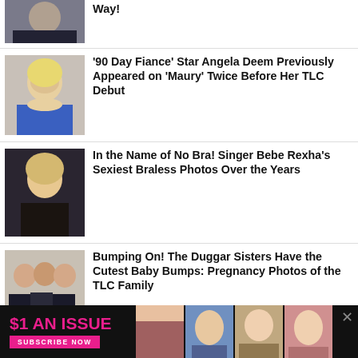[Figure (photo): Partial top article thumbnail - person in dark clothing]
Way!
[Figure (photo): Angela Deem - blonde woman in floral outfit]
'90 Day Fiance' Star Angela Deem Previously Appeared on 'Maury' Twice Before Her TLC Debut
[Figure (photo): Bebe Rexha - blonde woman at event]
In the Name of No Bra! Singer Bebe Rexha's Sexiest Braless Photos Over the Years
[Figure (photo): Duggar Sisters - group of women]
Bumping On! The Duggar Sisters Have the Cutest Baby Bumps: Pregnancy Photos of the TLC Family
[Figure (photo): Johannah Duggar - partial thumbnail]
'Counting On' Alum Johannah Duggar Went From Child Reality Star to Cool Teen...
[Figure (infographic): Ad banner: $1 AN ISSUE - SUBSCRIBE NOW with magazine covers]